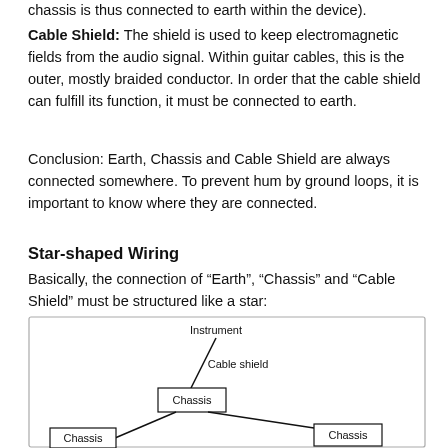chassis is thus connected to earth within the device).
Cable Shield: The shield is used to keep electromagnetic fields from the audio signal. Within guitar cables, this is the outer, mostly braided conductor. In order that the cable shield can fulfill its function, it must be connected to earth.
Conclusion: Earth, Chassis and Cable Shield are always connected somewhere. To prevent hum by ground loops, it is important to know where they are connected.
Star-shaped Wiring
Basically, the connection of “Earth”, “Chassis” and “Cable Shield” must be structured like a star:
[Figure (schematic): Star-shaped wiring diagram showing Instrument at top connected via a line labeled 'Cable shield' to a box labeled 'Chassis' in the center. From the central Chassis box, lines extend to two other boxes each labeled 'Chassis' at lower left and lower right.]